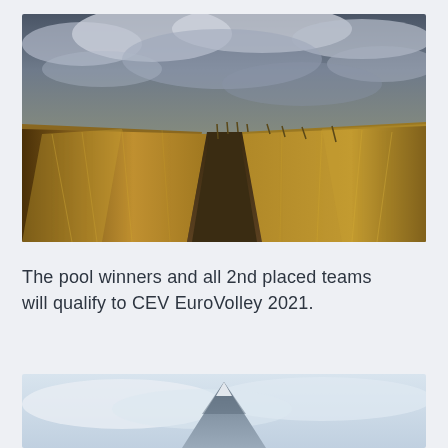[Figure (photo): Landscape photo of a grassy field with a dirt path leading into the distance, under a dramatic cloudy sky at golden hour.]
The pool winners and all 2nd placed teams will qualify to CEV EuroVolley 2021.
[Figure (photo): Partial photo of a mountain peak emerging from clouds with a light sky background.]